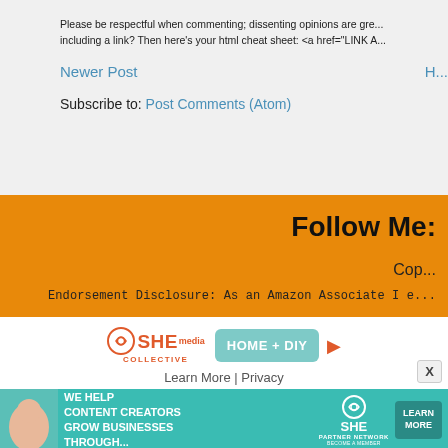Please be respectful when commenting; dissenting opinions are gre... including a link? Then here's your html cheat sheet: <a href="LINK A...
Newer Post | H...
Subscribe to: Post Comments (Atom)
Follow Me:
Cop...
Endorsement Disclosure: As an Amazon Associate I e...
[Figure (logo): SHE Collective HOME + DIY logo with play button icon, Learn More and Privacy links]
[Figure (infographic): SHE Partner Network banner ad: We help content creators grow businesses through... Become a member Learn More button]